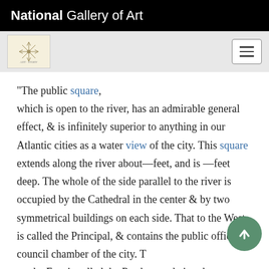National Gallery of Art
[Figure (logo): National Gallery of Art small ornamental logo on beige background]
"The public square, which is open to the river, has an admirable general effect, & is infinitely superior to anything in our Atlantic cities as a water view of the city. This square extends along the river about—feet, and is —feet deep. The whole of the side parallel to the river is occupied by the Cathedral in the center & by two symmetrical buildings on each side. That to the West is called the Principal, & contains the public offices & council chamber of the city. T on the East is called the Presbytery, being th property of the Church."